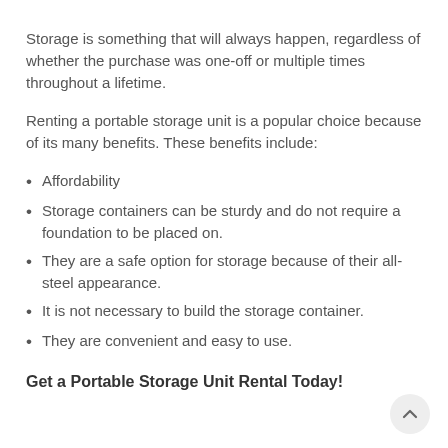Storage is something that will always happen, regardless of whether the purchase was one-off or multiple times throughout a lifetime.
Renting a portable storage unit is a popular choice because of its many benefits. These benefits include:
Affordability
Storage containers can be sturdy and do not require a foundation to be placed on.
They are a safe option for storage because of their all-steel appearance.
It is not necessary to build the storage container.
They are convenient and easy to use.
Get a Portable Storage Unit Rental Today!